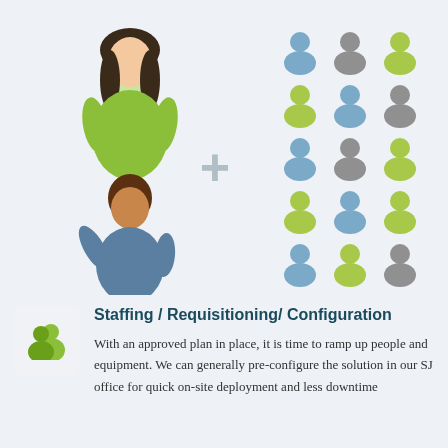[Figure (illustration): Illustration showing three diverse people figures (woman in green, man in blue waving, man in grey hoodie) on the left with a plus sign, and a grid of 12 colored person icons (blue, grey, green) arranged in a 3-column grid on the right, representing staffing/team building concept.]
[Figure (illustration): Green icon of two people silhouettes on a light grey/white rounded square background.]
Staffing / Requisitioning/ Configuration
With an approved plan in place, it is time to ramp up people and equipment. We can generally pre-configure the solution in our SJ office for quick on-site deployment and less downtime